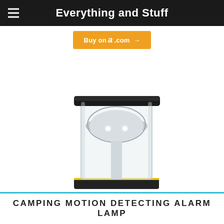Everything and Stuff
Buy on Amazon.com →
[Figure (photo): Close-up photo of a camping lantern with a clear cylindrical glass body, black top cap, and visible LED bulb/reflector inside, on a white background.]
CAMPING MOTION DETECTING ALARM LAMP